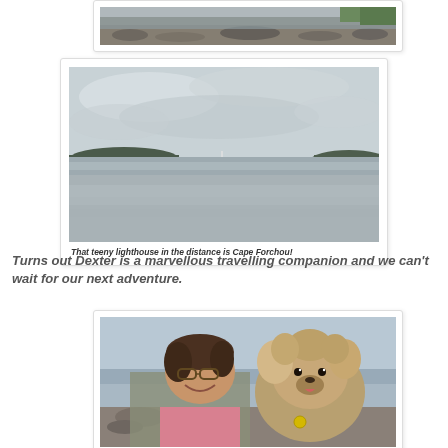[Figure (photo): Partial photo of a rocky beach or shoreline with gravel, grass, and water visible — cropped at top of page]
[Figure (photo): Wide panoramic beach scene with flat tidal sand, calm water, overcast sky, and two small land masses/islands on the horizon. A tiny lighthouse (Cape Forchou) is visible in the distance.]
That teeny lighthouse in the distance is Cape Forchou!
Turns out Dexter is a marvellous travelling companion and we can't wait for our next adventure.
[Figure (photo): A smiling woman holding a fluffy terrier dog (Dexter) close to her face outdoors on a beach. The dog has wind-blown fur and wears a yellow tag. Rocky shoreline and water visible in background.]